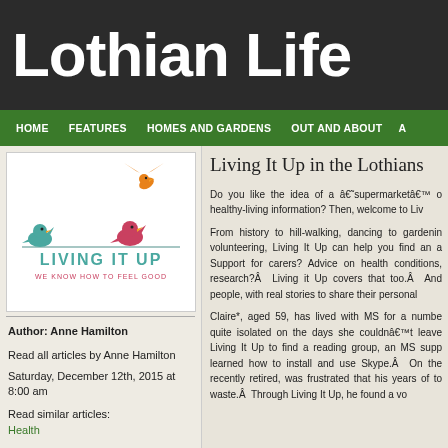Lothian Life
HOME | FEATURES | HOMES AND GARDENS | OUT AND ABOUT | A
[Figure (logo): Living It Up logo with three colourful birds on a wire and text 'LIVING IT UP — WE KNOW HOW TO FEEL GOOD']
Author: Anne Hamilton
Read all articles by Anne Hamilton
Saturday, December 12th, 2015 at 8:00 am
Read similar articles: Health
Living It Up in the Lothians
Do you like the idea of a â€˜supermarketâ€™ o healthy-living information? Then, welcome to Liv
From history to hill-walking, dancing to gardenin volunteering, Living It Up can help you find an a Support for carers? Advice on health conditions, research?Â  Living it Up covers that too.Â  And people, with real stories to share their personal
Claire*, aged 59, has lived with MS for a numbe quite isolated on the days she couldnâ€™t leave Living It Up to find a reading group, an MS supp learned how to install and use Skype.Â  On the recently retired, was frustrated that his years of to waste.Â  Through Living It Up, he found a vo